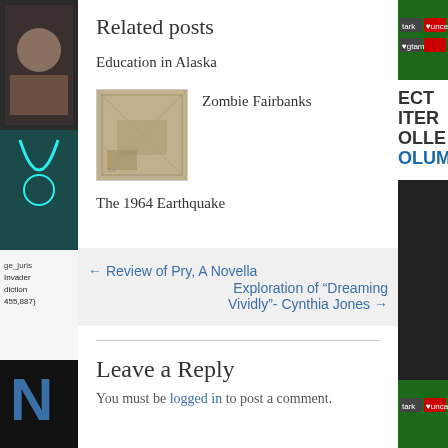Related posts
Education in Alaska
[Figure (photo): Thumbnail image for Zombie Fairbanks post]
Zombie Fairbanks
The 1964 Earthquake
← Review of Pry, A Novella
Exploration of “Dreaming Vividly”- Cynthia Jones →
Leave a Reply
You must be logged in to post a comment.